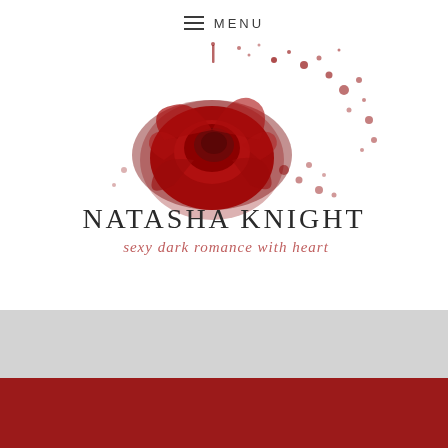≡ MENU
[Figure (logo): Natasha Knight author logo: a dark red rose with blood splatter on a white background, with text 'NATASHA KNIGHT' in large serif capitals and 'sexy dark romance with heart' in cursive script below]